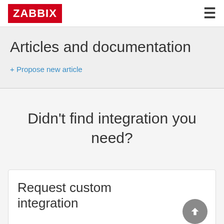ZABBIX
Articles and documentation
+ Propose new article
Didn't find integration you need?
Request custom integration